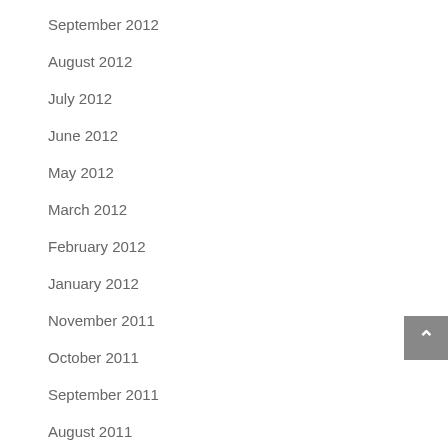September 2012
August 2012
July 2012
June 2012
May 2012
March 2012
February 2012
January 2012
November 2011
October 2011
September 2011
August 2011
July 2011
June 2011
May 2011